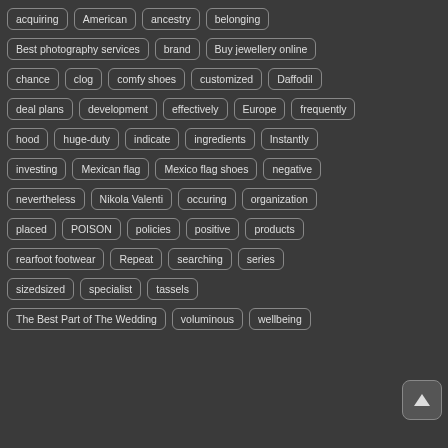acquiring
American
ancestry
belonging
Best photography services
brand
Buy jewellery online
chance
clog
comfy shoes
customized
Daffodil
deal plans
development
effectively
Europe
frequently
hood
huge-duty
indicate
ingredients
Instantly
investing
Mexican flag
Mexico flag shoes
negative
nevertheless
Nikola Valenti
occuring
organization
placed
POISON
policies
positive
products
rearfoot footwear
Repeat
searching
series
sizedsized
specialist
tassels
The Best Part of The Wedding
voluminous
wellbeing